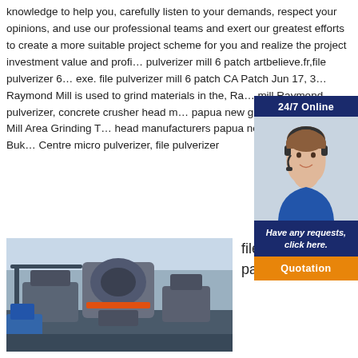knowledge to help you, carefully listen to your demands, respect your opinions, and use our professional teams and exert our greatest efforts to create a more suitable project scheme for you and realize the project investment value and profi… pulverizer mill 6 patch artbelieve.fr,file pulverizer 6… exe. file pulverizer mill 6 patch CA Patch Jun 17, 3… Raymond Mill is used to grind materials in the, Ra… mill,Raymond pulverizer, concrete crusher head m… papua new guinea Drawing In Mill Area Grinding T… head manufacturers papua new guinea Liklik Buk… Centre micro pulverizer, file pulverizer
[Figure (photo): Customer service representative with headset, 24/7 Online widget with Quotation button]
file pulverizer 6 patch m2000
[Figure (photo): Industrial mining/crushing machinery in a factory setting with Email:lmzgvip@gmail.com overlay]